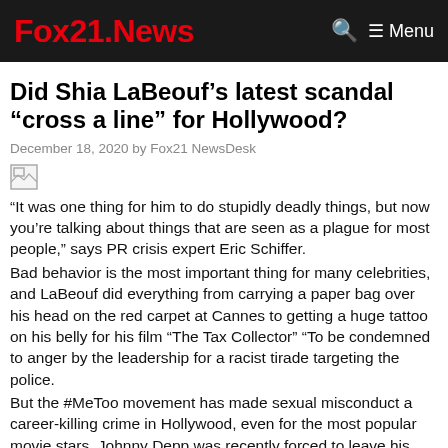Fox21.News  🔍 ☰ Menu
Did Shia LaBeouf's latest scandal “cross a line” for Hollywood?
December 18, 2020 by Fox21 NewsDesk
[Figure (photo): Broken image placeholder]
“It was one thing for him to do stupidly deadly things, but now you’re talking about things that are seen as a plague for most people,” says PR crisis expert Eric Schiffer.
Bad behavior is the most important thing for many celebrities, and LaBeouf did everything from carrying a paper bag over his head on the red carpet at Cannes to getting a huge tattoo on his belly for his film “The Tax Collector” “To be condemned to anger by the leadership for a racist tirade targeting the police.
But the #MeToo movement has made sexual misconduct a career-killing crime in Hollywood, even for the most popular movie stars. Johnny Depp was recently forced to leave his role in Warner Bros. ‘Fantastic Beasts franchise after losing a public defamation suit against The Sun and a judge’s ruling that his self-described beatings, allegations that he was a wife